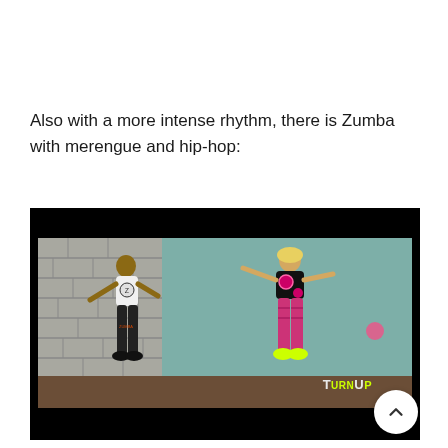Also with a more intense rhythm, there is Zumba with merengue and hip-hop:
[Figure (photo): Video screenshot showing two Zumba dancers in a studio with stone wall on the left and teal wall on the right. A male dancer in a white tank top and black pants on the left, and a female dancer in black top and pink patterned leggings with neon yellow shoes on the right. A 'TURNUP' logo appears in the bottom right, with a pink progress bar and black bars at top and bottom indicating a video player interface.]